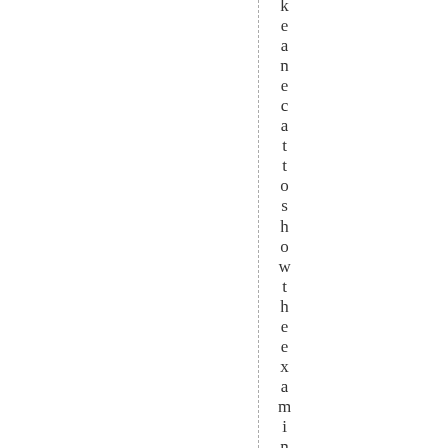k e a n e c a t t o s h o w t h e e x a m i n e r s t h a t i